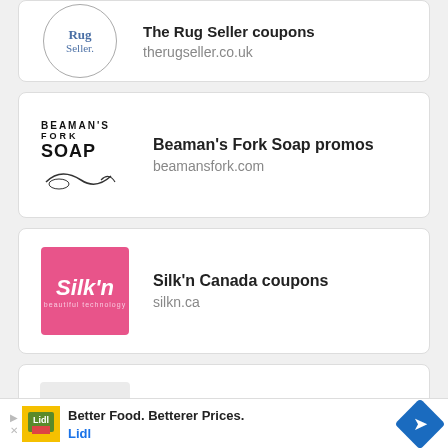[Figure (logo): The Rug Seller circular logo]
The Rug Seller coupons
therugseller.co.uk
[Figure (logo): Beaman's Fork Soap text logo]
Beaman's Fork Soap promos
beamansfork.com
[Figure (logo): Silk'n pink logo]
Silk'n Canada coupons
silkn.ca
[Figure (logo): AVA dark logo on light background]
Ava discount codes
ava.ph
Better Food. Betterer Prices.
Lidl